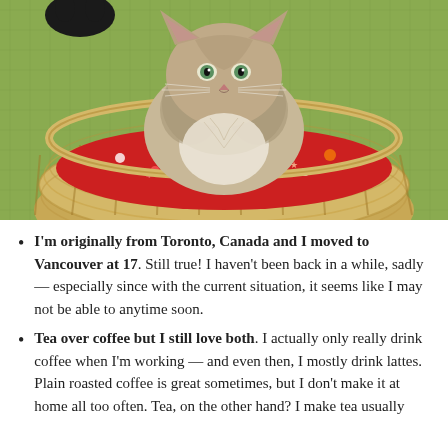[Figure (photo): A fluffy tabby/Maine Coon-style cat sitting in a wicker basket lined with a red holiday-patterned fleece blanket (featuring reindeer, candy canes, bones, and colorful prints). The cat has light gray-brown fur, white chest, and green eyes. The basket sits on a green carpet.]
I'm originally from Toronto, Canada and I moved to Vancouver at 17. Still true! I haven't been back in a while, sadly — especially since with the current situation, it seems like I may not be able to anytime soon.
Tea over coffee but I still love both. I actually only really drink coffee when I'm working — and even then, I mostly drink lattes. Plain roasted coffee is great sometimes, but I don't make it at home all too often. Tea, on the other hand? I make tea usually